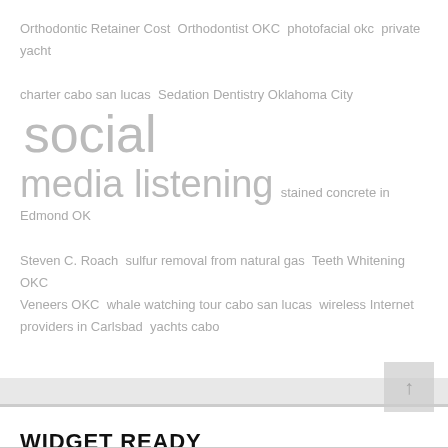Orthodontic Retainer Cost  Orthodontist OKC  photofacial okc  private yacht charter cabo san lucas  Sedation Dentistry Oklahoma City  social media listening  stained concrete in Edmond OK  Steven C. Roach  sulfur removal from natural gas  Teeth Whitening OKC  Veneers OKC  whale watching tour cabo san lucas  wireless Internet providers in Carlsbad  yachts cabo
WIDGET READY
This right column is widget ready! Add one in the admin panel.